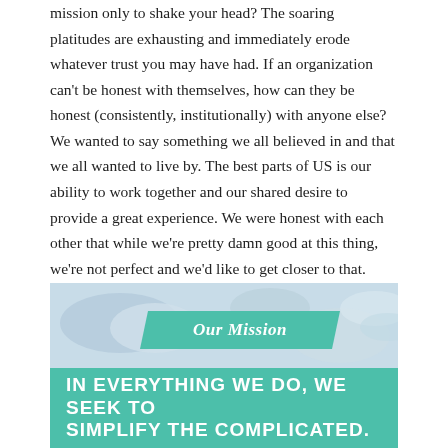mission only to shake your head? The soaring platitudes are exhausting and immediately erode whatever trust you may have had. If an organization can't be honest with themselves, how can they be honest (consistently, institutionally) with anyone else? We wanted to say something we all believed in and that we all wanted to live by. The best parts of US is our ability to work together and our shared desire to provide a great experience. We were honest with each other that while we're pretty damn good at this thing, we're not perfect and we'd like to get closer to that. Breaking it down we realized focusing our energies on perfecting our systems would have a ripple effect positively touching every other aspect of our business; Happier clients, happier Team, and more success.
[Figure (infographic): Our Mission infographic with teal banner reading 'Our Mission' in italic script, and a large teal box below with text 'IN EVERYTHING WE DO, WE SEEK TO SIMPLIFY THE COMPLICATED.' on a light blue sky/cloud background.]